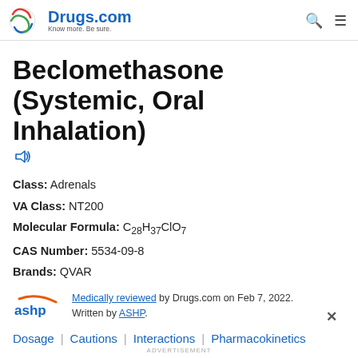Drugs.com — Know more. Be sure.
Beclomethasone (Systemic, Oral Inhalation)
Class: Adrenals
VA Class: NT200
Molecular Formula: C28H37ClO7
CAS Number: 5534-09-8
Brands: QVAR
Medically reviewed by Drugs.com on Feb 7, 2022. Written by ASHP.
Dosage | Cautions | Interactions | Pharmacokinetics